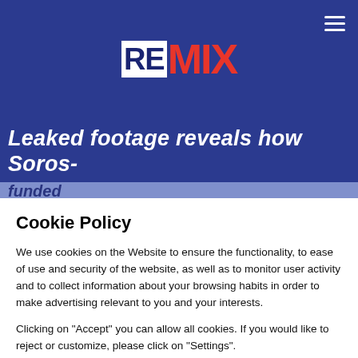REMIX
[Figure (screenshot): Partial headline visible behind cookie modal: 'Leaked footage reveals how Soros-funded...']
Cookie Policy
We use cookies on the Website to ensure the functionality, to ease of use and security of the website, as well as to monitor user activity and to collect information about your browsing habits in order to make advertising relevant to you and your interests.
Clicking on "Accept" you can allow all cookies. If you would like to reject or customize, please click on "Settings".
Read more: Cookie Policy
SETTINGS
ACCEPT